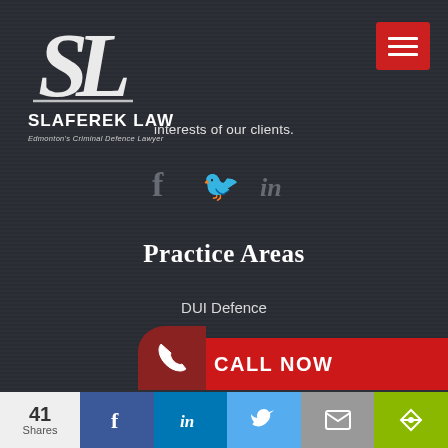[Figure (logo): Slaferek Law logo with stylized SL monogram in white]
SLAFEREK LAW
Edmonton's Criminal Defence Lawyer
interests of our clients.
[Figure (illustration): Social media icons: Facebook, Twitter, LinkedIn]
Practice Areas
DUI Defence
Drug Offences
Assault Offences
Theft or D
[Figure (infographic): Call Now button with phone icon on red background]
41 Shares | Facebook | LinkedIn | Twitter | Email | Share